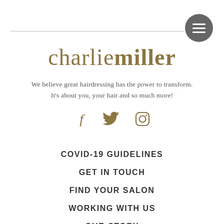charliemiller
We believe great hairdressing has the power to transform.
It's about you, your hair and so much more!
[Figure (illustration): Social media icons: Facebook (f), Twitter (bird), Instagram (camera outline)]
COVID-19 GUIDELINES
GET IN TOUCH
FIND YOUR SALON
WORKING WITH US
OUR STORY